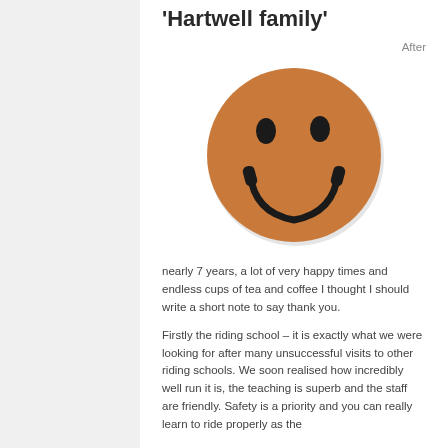'Hartwell family'
After
[Figure (illustration): A brown smiley face emoji — a circle with orange-brown fill, two oval eyes and a wide smile drawn in black.]
nearly 7 years, a lot of very happy times and endless cups of tea and coffee I thought I should write a short note to say thank you.
Firstly the riding school – it is exactly what we were looking for after many unsuccessful visits to other riding schools. We soon realised how incredibly well run it is, the teaching is superb and the staff are friendly. Safety is a priority and you can really learn to ride properly as the